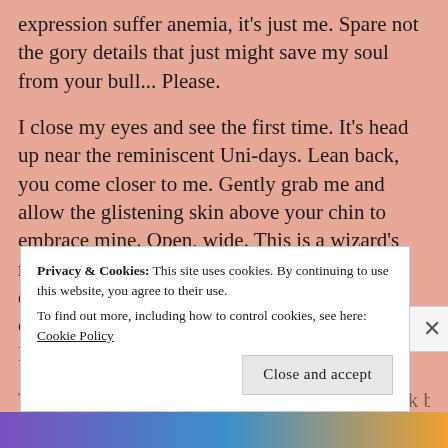expression suffer anemia, it's just me. Spare not the gory details that just might save my soul from your bull... Please.
I close my eyes and see the first time. It's head up near the reminiscent Uni-days. Lean back, you come closer to me. Gently grab me and allow the glistening skin above your chin to embrace mine. Open, wide. This is a wizard's magic. Don't challenge me. I buck back. I'm embarrassed, not disappointed. You're so concerned about me you can't focus, keep going. I'm sorry.
There ain't enough sumn$s in the world to buck back...
Privacy & Cookies: This site uses cookies. By continuing to use this website, you agree to their use.
To find out more, including how to control cookies, see here: Cookie Policy